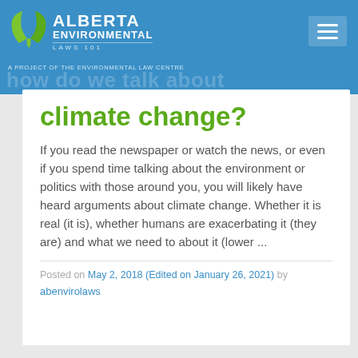[Figure (logo): Alberta Environmental Laws 101 logo with green leaf icon on blue header background. Tagline: A Project of the Environmental Law Centre]
how do we talk about
climate change?
If you read the newspaper or watch the news, or even if you spend time talking about the environment or politics with those around you, you will likely have heard arguments about climate change. Whether it is real (it is), whether humans are exacerbating it (they are) and what we need to about it (lower ...
Posted on May 2, 2018 (Edited on January 26, 2021) by
abenvirolaws